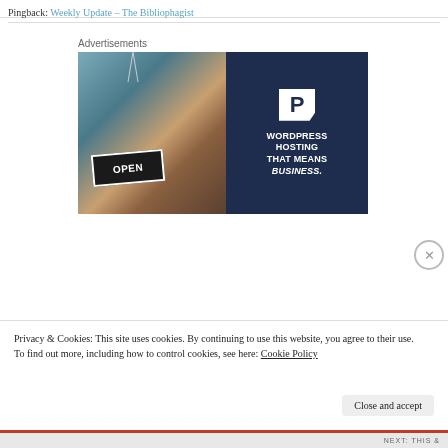Pingback: Weekly Update – The Bibliophagist
Advertisements
[Figure (photo): WordPress hosting advertisement showing a woman holding an OPEN sign, with dark navy panel on right reading: WORDPRESS HOSTING THAT MEANS BUSINESS.]
Privacy & Cookies: This site uses cookies. By continuing to use this website, you agree to their use.
To find out more, including how to control cookies, see here: Cookie Policy
Close and accept